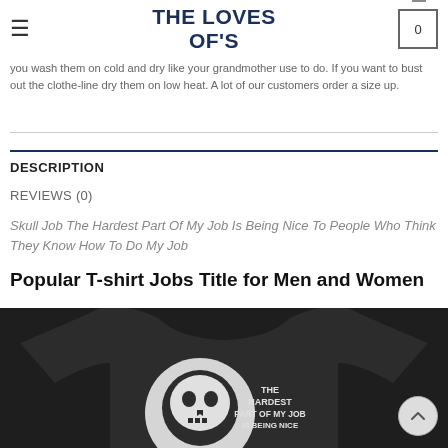THE LOVES OF'S
you wash them on cold and dry like your grandmother use to do. If you want to bust out the clothe-line dry them on low heat. A lot of our customers order a size up.
DESCRIPTION
REVIEWS (0)
Skull Job The Hardest Part Of My Job Is Being Nice To People Who Think They Know How To Do My Job
Popular T-shirt Jobs Title for Men and Women
[Figure (photo): Dark navy/black long-sleeve t-shirt with skull graphic and text reading 'THE HARDEST PART OF MY JOB IS BEING NICE' on the front]